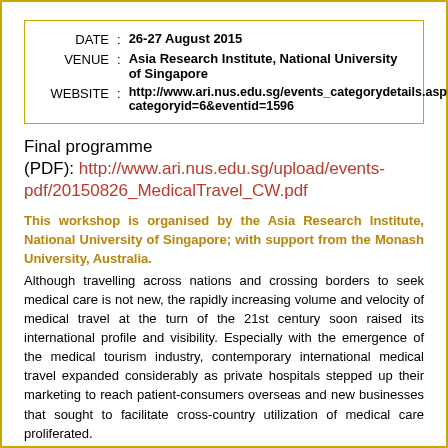| DATE | : | 26-27 August 2015 |
| VENUE | : | Asia Research Institute, National University of Singapore |
| WEBSITE | : | http://www.ari.nus.edu.sg/events_categorydetails.asp?categoryid=6&eventid=1596 |
Final programme (PDF): http://www.ari.nus.edu.sg/upload/events-pdf/20150826_MedicalTravel_CW.pdf
This workshop is organised by the Asia Research Institute, National University of Singapore; with support from the Monash University, Australia. Although travelling across nations and crossing borders to seek medical care is not new, the rapidly increasing volume and velocity of medical travel at the turn of the 21st century soon raised its international profile and visibility. Especially with the emergence of the medical tourism industry, contemporary international medical travel expanded considerably as private hospitals stepped up their marketing to reach patient-consumers overseas and new businesses that sought to facilitate cross-country utilization of medical care proliferated.